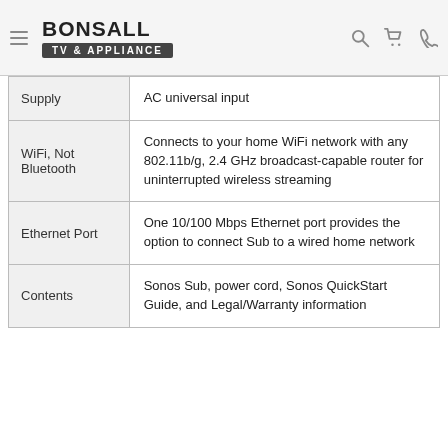[Figure (logo): Bonsall TV & Appliance logo with hamburger menu icon, search icon, cart icon, and phone icon in a website header]
| Supply | AC universal input |
| WiFi, Not Bluetooth | Connects to your home WiFi network with any 802.11b/g, 2.4 GHz broadcast-capable router for uninterrupted wireless streaming |
| Ethernet Port | One 10/100 Mbps Ethernet port provides the option to connect Sub to a wired home network |
| Contents | Sonos Sub, power cord, Sonos QuickStart Guide, and Legal/Warranty information |